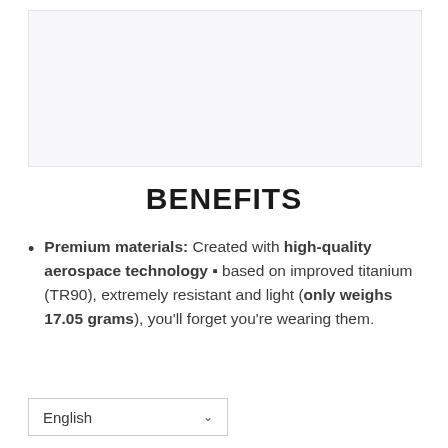[Figure (photo): Product image placeholder area with light gray background]
BENEFITS
Premium materials: Created with high-quality aerospace technology – based on improved titanium (TR90), extremely resistant and light (only weighs 17.05 grams), you'll forget you're wearing them.
English